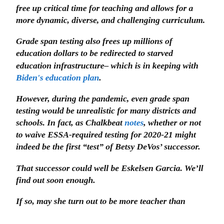free up critical time for teaching and allows for a more dynamic, diverse, and challenging curriculum.
Grade span testing also frees up millions of education dollars to be redirected to starved education infrastructure– which is in keeping with Biden's education plan.
However, during the pandemic, even grade span testing would be unrealistic for many districts and schools. In fact, as Chalkbeat notes, whether or not to waive ESSA-required testing for 2020-21 might indeed be the first “test” of Betsy DeVos’ successor.
That successor could well be Eskelsen Garcia. We’ll find out soon enough.
If so, may she turn out to be more teacher than